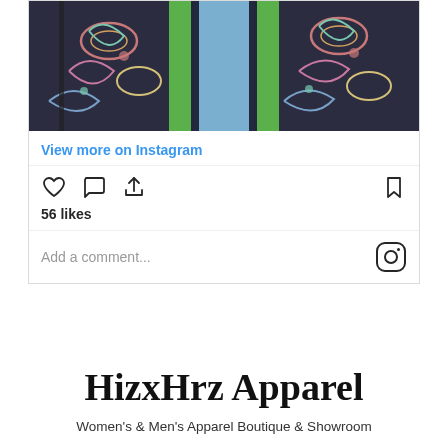[Figure (photo): Instagram post showing a person wearing a colorful paisley patterned kimono/coat over blue jeans, cropped at the torso. The garment has intricate multi-color (pink, teal, cream) patterns on dark background with green lining.]
View more on Instagram
56 likes
Add a comment...
HizxHrz Apparel
Women's & Men's Apparel Boutique & Showroom